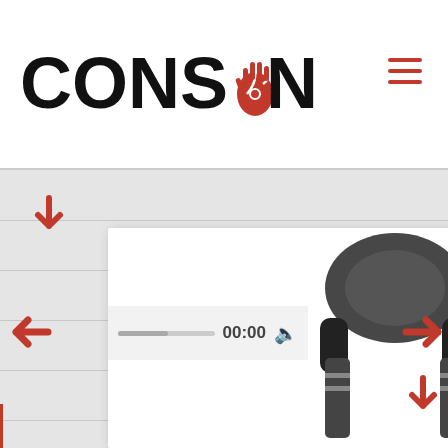[Figure (logo): CONSONSES logo with red hand/spiral icon replacing the 'O', black bold text]
[Figure (screenshot): Website UI showing music cards with headphone images, audio player with 00:00 timestamp, navigation arrows, text panels with music descriptions for Chloe and Henry from Featherstone Workshop]
would be tinkering crystals o... moved by breezy wind. If it w... would be a squeeze of lemo... and Celtic sea salt in an oatm... If it were an animal it would b...
Chloe
rstone Workshop
ep vast center. I used drums metal, and strings to add
Henry
Featherstone Wo...